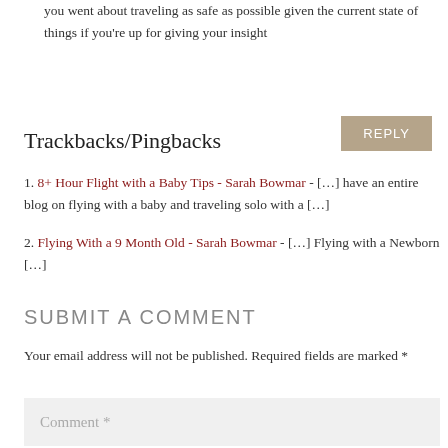you went about traveling as safe as possible given the current state of things if you're up for giving your insight
REPLY
Trackbacks/Pingbacks
1. 8+ Hour Flight with a Baby Tips - Sarah Bowmar - […] have an entire blog on flying with a baby and traveling solo with a […]
2. Flying With a 9 Month Old - Sarah Bowmar - […] Flying with a Newborn […]
SUBMIT A COMMENT
Your email address will not be published. Required fields are marked *
Comment *